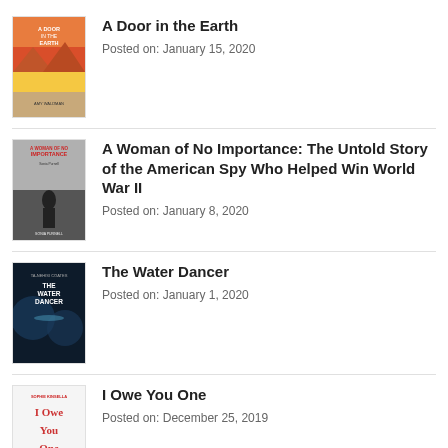A Door in the Earth — Posted on: January 15, 2020
A Woman of No Importance: The Untold Story of the American Spy Who Helped Win World War II — Posted on: January 8, 2020
The Water Dancer — Posted on: January 1, 2020
I Owe You One — Posted on: December 25, 2019